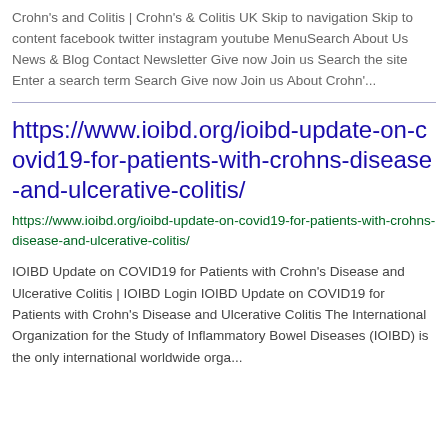Crohn's and Colitis | Crohn's & Colitis UK Skip to navigation Skip to content facebook twitter instagram youtube MenuSearch About Us News & Blog Contact Newsletter Give now Join us Search the site Enter a search term Search Give now Join us About Crohn'...
https://www.ioibd.org/ioibd-update-on-covid19-for-patients-with-crohns-disease-and-ulcerative-colitis/
https://www.ioibd.org/ioibd-update-on-covid19-for-patients-with-crohns-disease-and-ulcerative-colitis/
IOIBD Update on COVID19 for Patients with Crohn's Disease and Ulcerative Colitis | IOIBD Login IOIBD Update on COVID19 for Patients with Crohn's Disease and Ulcerative Colitis The International Organization for the Study of Inflammatory Bowel Diseases (IOIBD) is the only international worldwide orga...